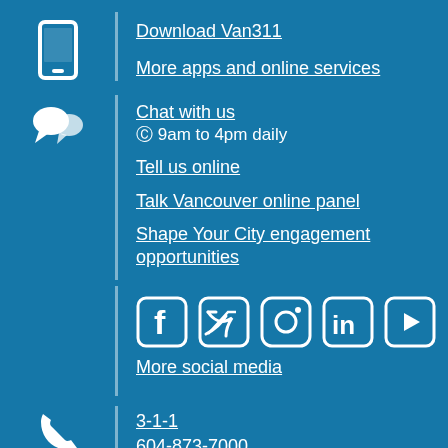Download Van311
More apps and online services
Chat with us
⊙ 9am to 4pm daily
Tell us online
Talk Vancouver online panel
Shape Your City engagement opportunities
[Figure (infographic): Social media icons: Facebook, Twitter, Instagram, LinkedIn, YouTube]
More social media
3-1-1
604-873-7000
7am to 10pm daily